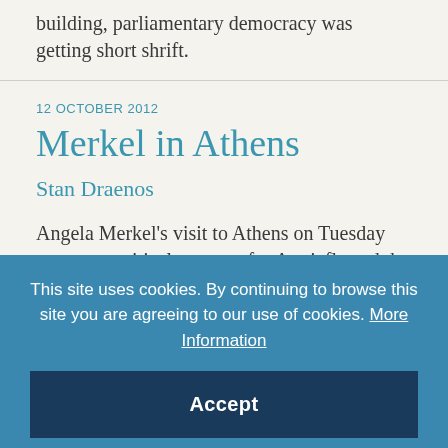building, parliamentary democracy was getting short shrift.
12 OCTOBER 2012
Merkel in Athens
Stan Draenos
Angela Merkel's visit to Athens on Tuesday came at a critical moment for Atariafle and the
This site uses cookies. By continuing to browse this site you are agreeing to our use of cookies. More Information
Accept